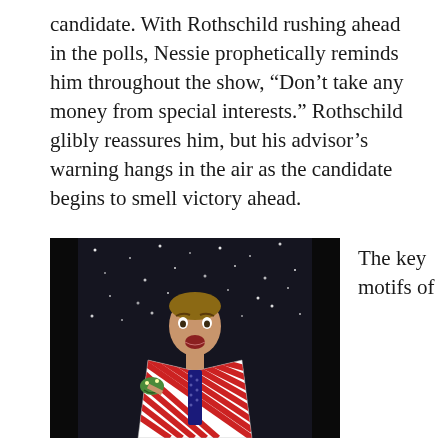candidate. With Rothschild rushing ahead in the polls, Nessie prophetically reminds him throughout the show, “Don’t take any money from special interests.” Rothschild glibly reassures him, but his advisor’s warning hangs in the air as the candidate begins to smell victory ahead.
[Figure (photo): A man in a red and white striped American flag-patterned jacket, blue polka-dot tie, holding what appears to be a puppet or toy, posed against a dark starry/sparkly curtain backdrop with a surprised or exaggerated expression.]
The key motifs of